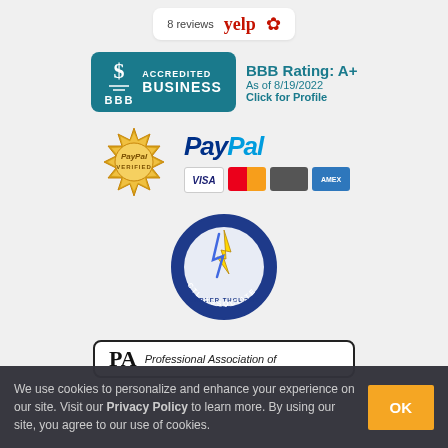[Figure (logo): Yelp badge showing '8 reviews' with Yelp logo and red burst icon]
[Figure (logo): BBB Accredited Business logo with teal background. BBB Rating: A+, As of 8/19/2022, Click for Profile]
[Figure (logo): PayPal Verified badge (gold seal) alongside PayPal logo and credit card icons (Visa, Mastercard, generic, Amex)]
[Figure (logo): CTL Associate - Career Thought Leaders round badge with blue circle and lightning bolt]
[Figure (logo): PA - Professional Association of ... badge (partially visible)]
We use cookies to personalize and enhance your experience on our site. Visit our Privacy Policy to learn more. By using our site, you agree to our use of cookies.